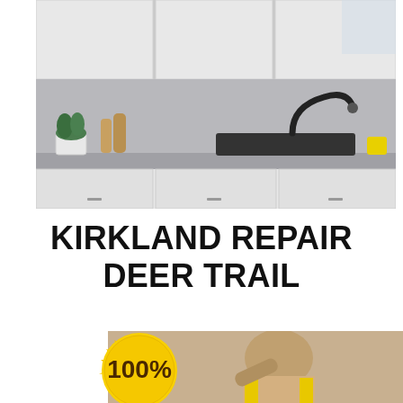[Figure (photo): Modern kitchen with white cabinets, gray backsplash, black sink with gooseneck faucet, potted herbs, wooden pepper mills, and yellow cup on counter]
KIRKLAND REPAIR DEER TRAIL
[Figure (infographic): Gold sunburst badge with '100%' text in dark brown, and a repairman in yellow vest working on a couch in the background]